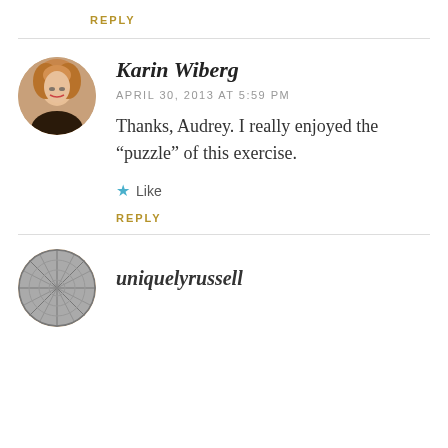REPLY
Karin Wiberg
APRIL 30, 2013 AT 5:59 PM
Thanks, Audrey. I really enjoyed the “puzzle” of this exercise.
★ Like
REPLY
[Figure (photo): Round avatar photo of Karin Wiberg, a woman with blonde/brown hair, smiling]
[Figure (photo): Round avatar of uniquelyrussell, appears to be a textured circular image]
uniquelyrussell